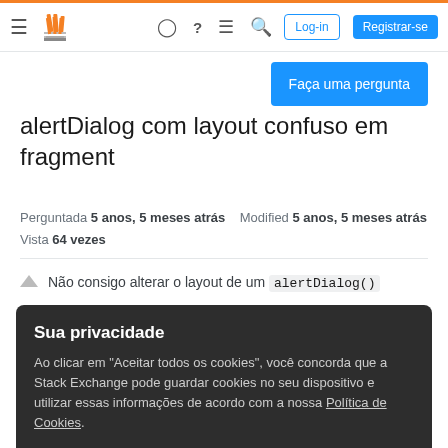Stack Overflow PT — Navigation bar with hamburger, logo, help, chat, search, Log-in, Registrar-se
[Figure (screenshot): Ask button: Faça uma pergunta (blue button)]
alertDialog com layout confuso em fragment
Perguntada 5 anos, 5 meses atrás   Modified 5 anos, 5 meses atrás
Vista 64 vezes
Não consigo alterar o layout de um alertDialog()
Sua privacidade
Ao clicar em "Aceitar todos os cookies", você concorda que a Stack Exchange pode guardar cookies no seu dispositivo e utilizar essas informações de acordo com a nossa Política de Cookies.
Aceitar todos os cookies
Personalizar configurações